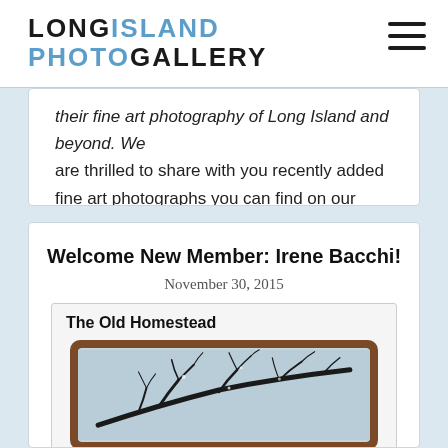LONG ISLAND PHOTO GALLERY
their fine art photography of Long Island and beyond. We are thrilled to share with you recently added fine art photographs you can find on our website. Recently added...
Welcome New Member: Irene Bacchi!
November 30, 2015
The Old Homestead
[Figure (photo): A framed photograph showing bare tree branches against a light blue sky, displayed in a brown wooden frame.]